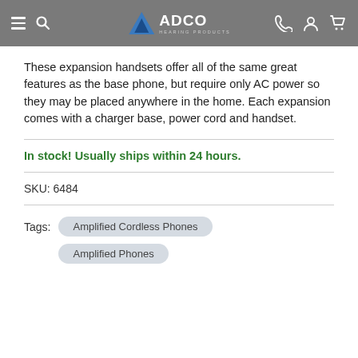ADCO Hearing Products navigation header
These expansion handsets offer all of the same great features as the base phone, but require only AC power so they may be placed anywhere in the home. Each expansion comes with a charger base, power cord and handset.
In stock! Usually ships within 24 hours.
SKU: 6484
Tags: Amplified Cordless Phones  Amplified Phones